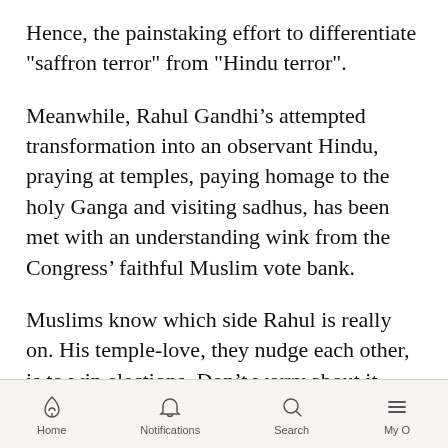Hence, the painstaking effort to differentiate "saffron terror" from "Hindu terror".
Meanwhile, Rahul Gandhi’s attempted transformation into an observant Hindu, praying at temples, paying homage to the holy Ganga and visiting sadhus, has been met with an understanding wink from the Congress’ faithful Muslim vote bank.
Muslims know which side Rahul is really on. His temple-love, they nudge each other, is to win elections. Don’t worry about it. He’s our man.
The foreign media is puzzled by all this chicanery.
Home  Notifications  Search  My O